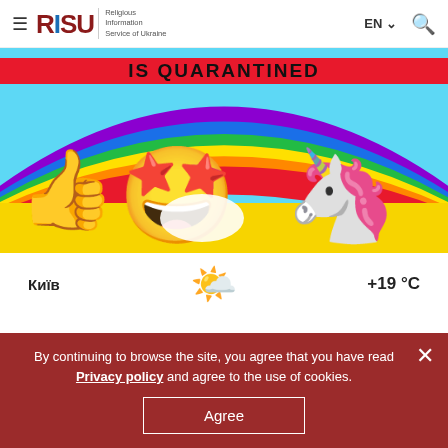≡ RISU Religious Information Service of Ukraine | EN | 🔍
[Figure (illustration): Colorful illustration with rainbow background, text 'IS QUARANTINED' at top, a smiley face emoji with star eyes and medical mask, a thumbs up emoji on the left, and a unicorn on the right.]
Київ   +19 °C
By continuing to browse the site, you agree that you have read Privacy policy and agree to the use of cookies.
Agree